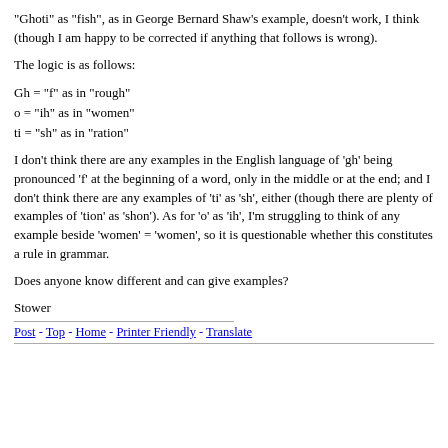"Ghoti" as "fish", as in George Bernard Shaw's example, doesn't work, I think (though I am happy to be corrected if anything that follows is wrong).
The logic is as follows:
Gh = "f" as in "rough"
o = "ih" as in "women"
ti = "sh" as in "ration"
I don't think there are any examples in the English language of 'gh' being pronounced 'f' at the beginning of a word, only in the middle or at the end; and I don't think there are any examples of 'ti' as 'sh', either (though there are plenty of examples of 'tion' as 'shon'). As for 'o' as 'ih', I'm struggling to think of any example beside 'women' = 'women', so it is questionable whether this constitutes a rule in grammar.
Does anyone know different and can give examples?
Stower
Post - Top - Home - Printer Friendly - Translate